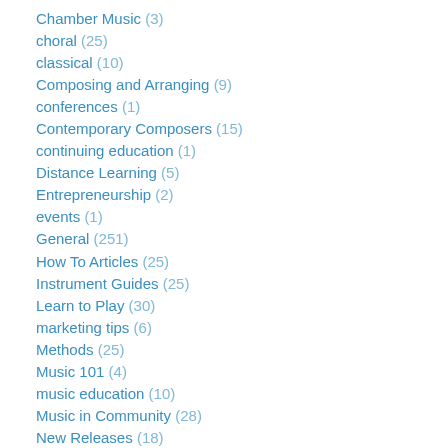Chamber Music (3)
choral (25)
classical (10)
Composing and Arranging (9)
conferences (1)
Contemporary Composers (15)
continuing education (1)
Distance Learning (5)
Entrepreneurship (2)
events (1)
General (251)
How To Articles (25)
Instrument Guides (25)
Learn to Play (30)
marketing tips (6)
Methods (25)
Music 101 (4)
music education (10)
Music in Community (28)
New Releases (18)